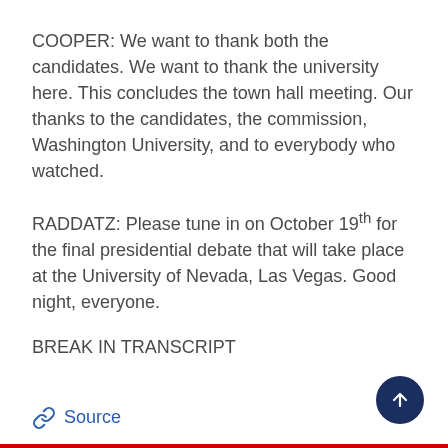COOPER: We want to thank both the candidates. We want to thank the university here. This concludes the town hall meeting. Our thanks to the candidates, the commission, Washington University, and to everybody who watched.
RADDATZ: Please tune in on October 19th for the final presidential debate that will take place at the University of Nevada, Las Vegas. Good night, everyone.
BREAK IN TRANSCRIPT
Source